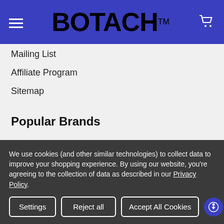BOTACH™
Mailing List
Affiliate Program
Sitemap
Popular Brands
Magpul
Viktos
We use cookies (and other similar technologies) to collect data to improve your shopping experience. By using our website, you're agreeing to the collection of data as described in our Privacy Policy.